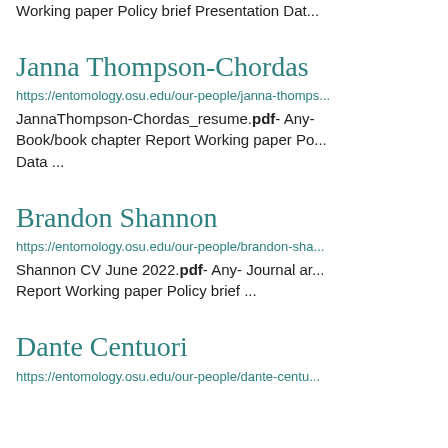Working paper Policy brief Presentation Data...
Janna Thompson-Chordas
https://entomology.osu.edu/our-people/janna-thomps... JannaThompson-Chordas_resume.pdf - Any- Book/book chapter Report Working paper Po... Data ...
Brandon Shannon
https://entomology.osu.edu/our-people/brandon-sha... Shannon CV June 2022.pdf - Any- Journal ar... Report Working paper Policy brief ...
Dante Centuori
https://entomology.osu.edu/our-people/dante-centu...